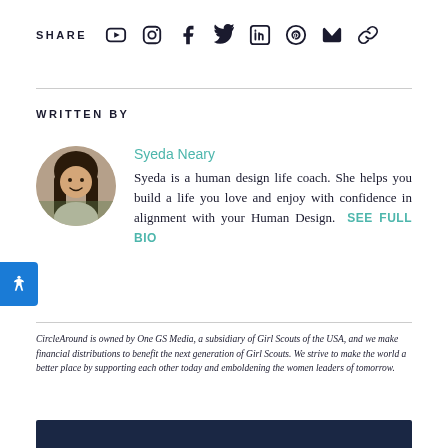SHARE [YouTube] [Instagram] [Facebook] [Twitter] [LinkedIn] [Pinterest] [Email] [Link]
WRITTEN BY
[Figure (photo): Circular profile photo of Syeda Neary, a woman with long dark hair, smiling outdoors.]
Syeda Neary
Syeda is a human design life coach. She helps you build a life you love and enjoy with confidence in alignment with your Human Design. SEE FULL BIO
CircleAround is owned by One GS Media, a subsidiary of Girl Scouts of the USA, and we make financial distributions to benefit the next generation of Girl Scouts. We strive to make the world a better place by supporting each other today and emboldening the women leaders of tomorrow.